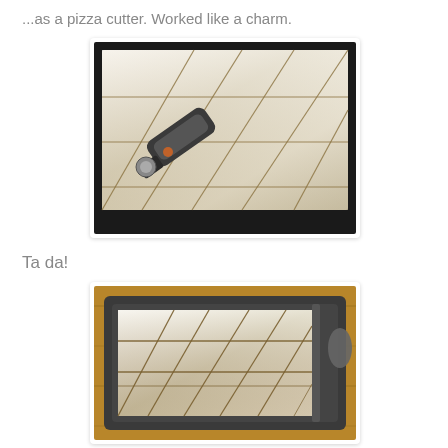...as a pizza cutter. Worked like a charm.
[Figure (photo): Close-up of phyllo dough in a dark baking pan, cut into diamond shapes with a pizza cutter visible in the lower left of the frame. The dough is pale white/cream colored with golden-brown cut lines forming a diagonal grid pattern.]
Ta da!
[Figure (photo): Overhead view of a dark non-stick baking pan filled with phyllo dough cut into diamond/rhombus shapes (baklava pattern), showing the completed cutting job. The pan sits on a wooden surface.]